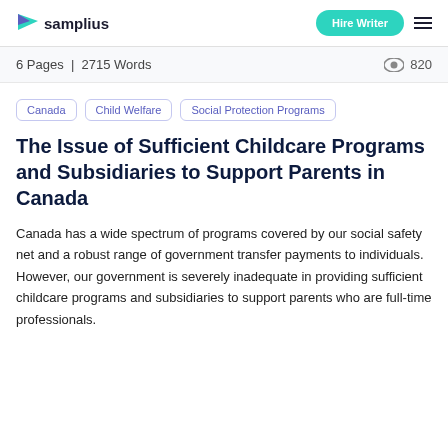samplius | Hire Writer
6 Pages | 2715 Words  820
Canada
Child Welfare
Social Protection Programs
The Issue of Sufficient Childcare Programs and Subsidiaries to Support Parents in Canada
Canada has a wide spectrum of programs covered by our social safety net and a robust range of government transfer payments to individuals. However, our government is severely inadequate in providing sufficient childcare programs and subsidiaries to support parents who are full-time professionals.